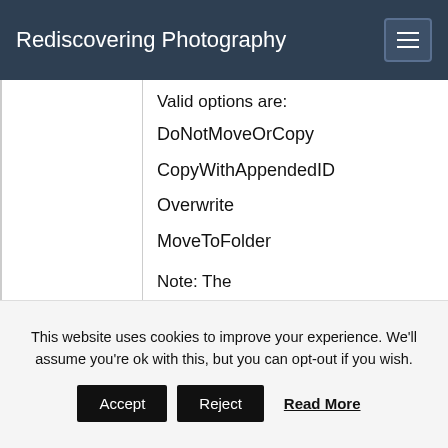Rediscovering Photography
Valid options are:
DoNotMoveOrCopy
CopyWithAppendedID
Overwrite
MoveToFolder
Note: The
This website uses cookies to improve your experience. We'll assume you're ok with this, but you can opt-out if you wish.